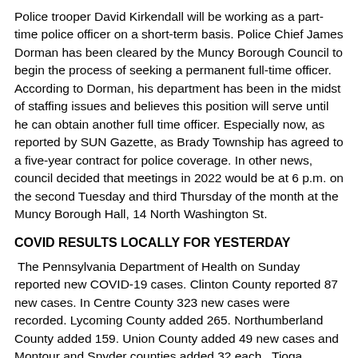Police trooper David Kirkendall will be working as a part-time police officer on a short-term basis. Police Chief James Dorman has been cleared by the Muncy Borough Council to begin the process of seeking a permanent full-time officer. According to Dorman, his department has been in the midst of staffing issues and believes this position will serve until he can obtain another full time officer. Especially now, as reported by SUN Gazette, as Brady Township has agreed to a five-year contract for police coverage. In other news, council decided that meetings in 2022 would be at 6 p.m. on the second Tuesday and third Thursday of the month at the Muncy Borough Hall, 14 North Washington St.
COVID RESULTS LOCALLY FOR YESTERDAY
The Pennsylvania Department of Health on Sunday reported new COVID-19 cases. Clinton County reported 87 new cases. In Centre County 323 new cases were recorded. Lycoming County added 265. Northumberland County added 159. Union County added 49 new cases and Montour and Snyder counties added 32 each. Tioga County added 58.
GARAGE FIRE DESTROYED THREE VEHICLES INSIDE
Fire swept through a garage, destroyed the garage and three vehicles inside. Multiple fire companies responded to the 200 block of South Jones...